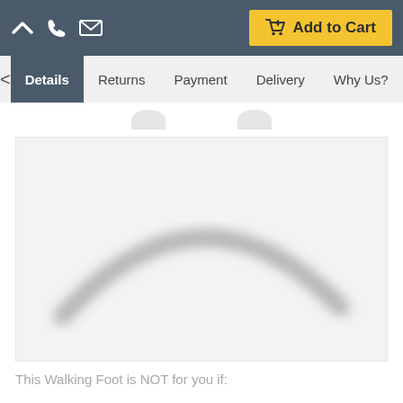[Figure (screenshot): Top navigation bar with phone, mail icons and Add to Cart button, followed by tab navigation with Details, Returns, Payment, Delivery, Why Us? tabs, a product image box showing a blurred arc/curved shape on light gray background, and bottom text.]
This Walking Foot is NOT for you if: